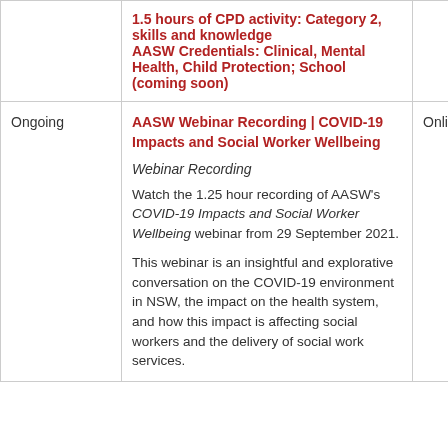| Date | Details | Location |
| --- | --- | --- |
|  | 1.5 hours of CPD activity: Category 2, skills and knowledge
AASW Credentials: Clinical, Mental Health, Child Protection; School (coming soon) |  |
| Ongoing | AASW Webinar Recording | COVID-19 Impacts and Social Worker Wellbeing

Webinar Recording

Watch the 1.25 hour recording of AASW's COVID-19 Impacts and Social Worker Wellbeing webinar from 29 September 2021.

This webinar is an insightful and explorative conversation on the COVID-19 environment in NSW, the impact on the health system, and how this impact is affecting social workers and the delivery of social work services. | Online |